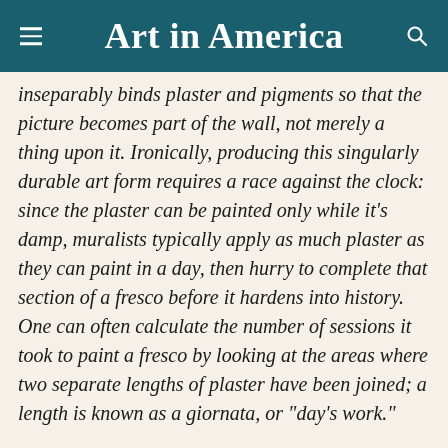Art in America
inseparably binds plaster and pigments so that the picture becomes part of the wall, not merely a thing upon it. Ironically, producing this singularly durable art form requires a race against the clock: since the plaster can be painted only while it’s damp, muralists typically apply as much plaster as they can paint in a day, then hurry to complete that section of a fresco before it hardens into history. One can often calculate the number of sessions it took to paint a fresco by looking at the areas where two separate lengths of plaster have been joined; a length is known as a giornata, or “day’s work.”
Perhaps on some level the Mexican muralists (the major modern artists to use fresco) were attracted by how the medium itself can serve as a metaphor for historical process, for the integration of individual labor—a long string of giornate—into the collective, the